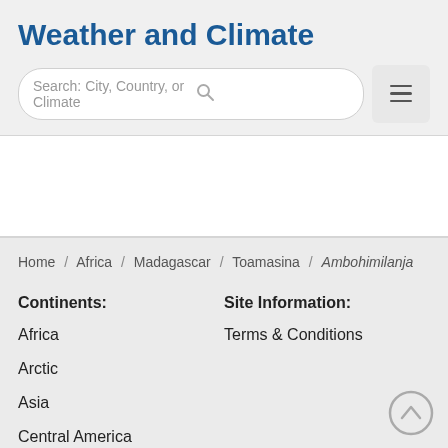Weather and Climate
Search: City, Country, or Climate
Home / Africa / Madagascar / Toamasina / Ambohimilanja
Continents:
Site Information:
Africa
Terms & Conditions
Arctic
Asia
Central America